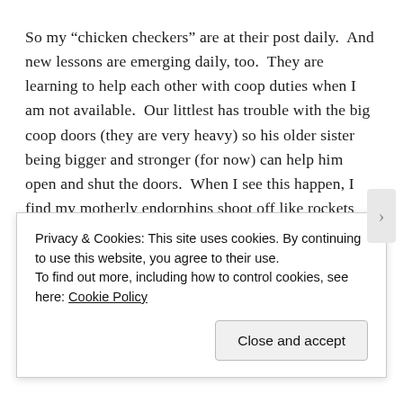So my “chicken checkers” are at their post daily.  And new lessons are emerging daily, too.  They are learning to help each other with coop duties when I am not available.  Our littlest has trouble with the big coop doors (they are very heavy) so his older sister being bigger and stronger (for now) can help him open and shut the doors.  When I see this happen, I find my motherly endorphins shoot off like rockets when the spirit of cooperation out-rides the temptation to annoy one another.  Peace reigns, the eggs get collected, and a habit of helpfulness is once again instilled.  Just one of the many benefits to having chickens in the
Privacy & Cookies: This site uses cookies. By continuing to use this website, you agree to their use.
To find out more, including how to control cookies, see here: Cookie Policy